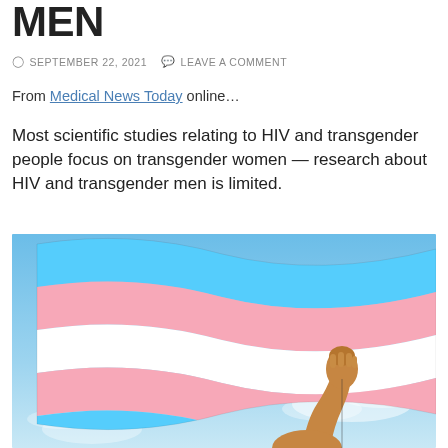MEN
SEPTEMBER 22, 2021   LEAVE A COMMENT
From Medical News Today online…
Most scientific studies relating to HIV and transgender people focus on transgender women — research about HIV and transgender men is limited.
[Figure (photo): Person holding a transgender pride flag (blue, pink, and white stripes) against a blue sky background.]